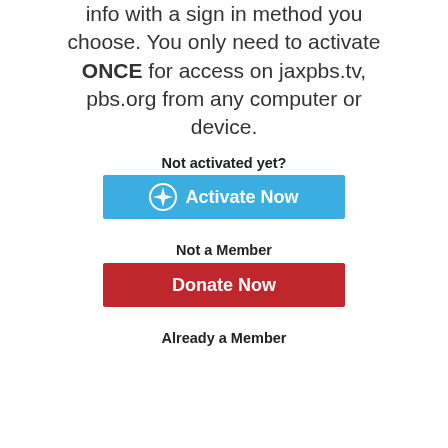info with a sign in method you choose. You only need to activate ONCE for access on jaxpbs.tv, pbs.org from any computer or device.
Not activated yet?
[Figure (other): Blue Activate Now button with compass/star icon]
Not a Member
[Figure (other): Red Donate Now button]
Already a Member